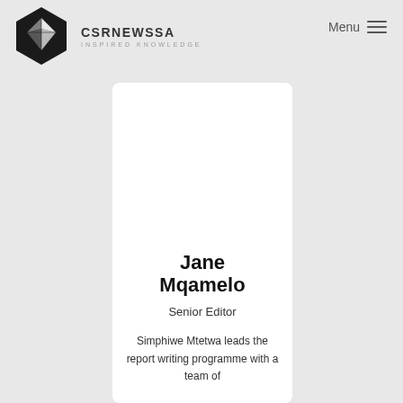[Figure (logo): CSRNewsSA hexagon logo with bird/origami icon and text 'CSRNEWSSA INSPIRED KNOWLEDGE']
Menu
Jane Mqamelo
Senior Editor
Simphiwe Mtetwa leads the report writing programme with a team of